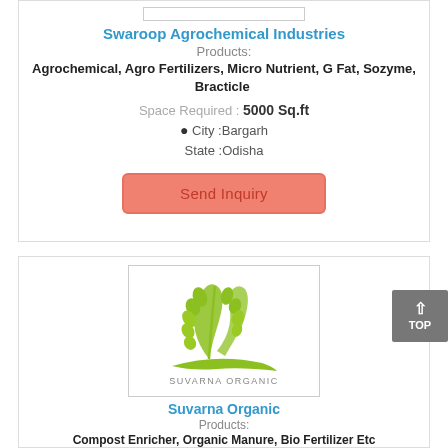Swaroop Agrochemical Industries
Products:
Agrochemical, Agro Fertilizers, Micro Nutrient, G Fat, Sozyme, Bracticle
Space Required : 5000 Sq.ft
City :Bargarh
State :Odisha
Send Inquiry
[Figure (logo): Suvarna Organic logo with wheat/plant graphic and text 'SUVARNA ORGANIC']
Suvarna Organic
Products:
Compost Enricher, Organic Manure, Bio Fertilizer Etc